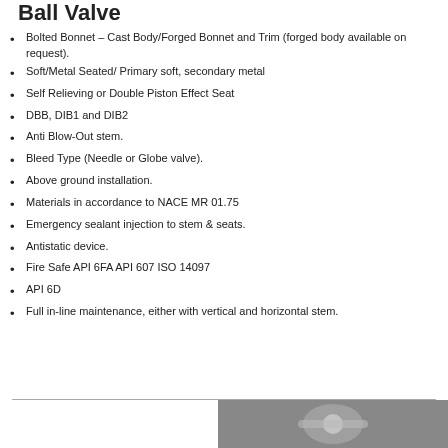Ball Valve
Bolted Bonnet – Cast Body/Forged Bonnet and Trim (forged body available on request).
Soft/Metal Seated/ Primary soft, secondary metal
Self Relieving or Double Piston Effect Seat
DBB, DIB1 and DIB2
Anti Blow-Out stem.
Bleed Type (Needle or Globe valve).
Above ground installation.
Materials in accordance to NACE MR 01.75
Emergency sealant injection to stem & seats.
Antistatic device.
Fire Safe API 6FA API 607 ISO 14097
API 6D
Full in-line maintenance, either with vertical and horizontal stem.
[Figure (photo): Bottom right photo of a ball valve component]